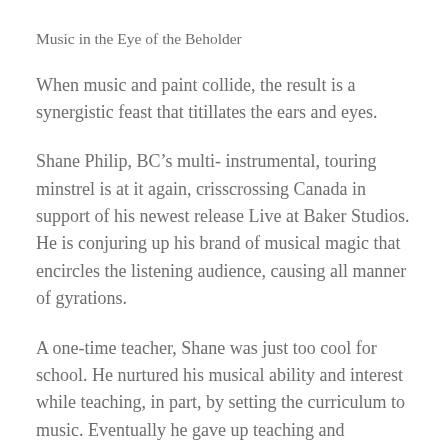Music in the Eye of the Beholder
When music and paint collide, the result is a synergistic feast that titillates the ears and eyes.
Shane Philip, BC’s multi- instrumental, touring minstrel is at it again, crisscrossing Canada in support of his newest release Live at Baker Studios. He is conjuring up his brand of musical magic that encircles the listening audience, causing all manner of gyrations.
A one-time teacher, Shane was just too cool for school. He nurtured his musical ability and interest while teaching, in part, by setting the curriculum to music. Eventually he gave up teaching and followed